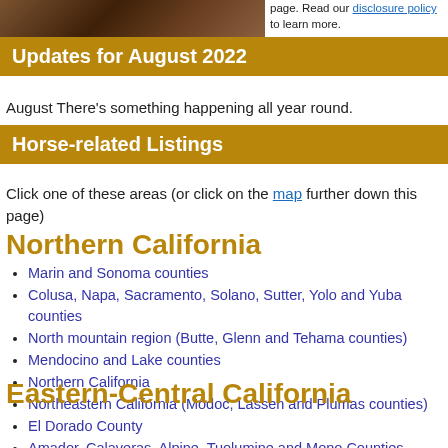[Figure (photo): Partial photo of horses or equestrian scene, cropped at top of page]
page. Read our disclosure policy to learn more.
Updates for August 2022
August There's something happening all year round.
Horse-related Listings
Click one of these areas (or click on the map further down this page)
Northern California
Marin and Sonoma counties
Colusa, Napa, Sacramento, Solano, Sutter, Yolo and Yuba counties
North mountain region (Butte, Glenn and Tehama counties)
Mendocino and Lake counties
Northern California
Northeastern California (Modoc, Lassen and Plumas counties)
Eastern-Central California
El Dorado County
Amador, Calaveras, Alpine, Tuolumine and Mono Counties